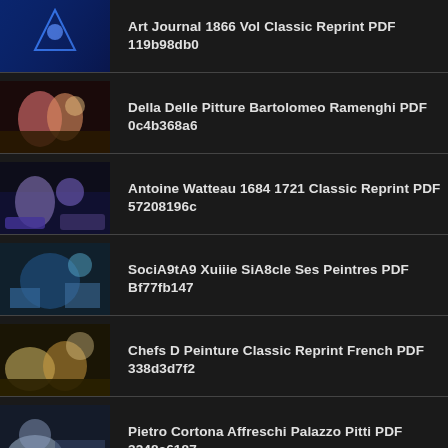Art Journal 1866 Vol Classic Reprint PDF 119b98db0
Della Delle Pitture Bartolomeo Ramenghi PDF 0c4b368a6
Antoine Watteau 1684 1721 Classic Reprint PDF 57208196c
SociA9tA9 Xuiiie SiA8cle Ses Peintres PDF Bf77fb147
Chefs D Peinture Classic Reprint French PDF 338d3d7f2
Pietro Cortona Affreschi Palazzo Pitti PDF 3248c6187